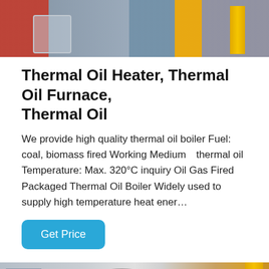[Figure (photo): Industrial thermal oil heater/furnace equipment with red tank, blue pump, and yellow safety rail visible in a factory setting]
Thermal Oil Heater, Thermal Oil Furnace, Thermal Oil
We provide high quality thermal oil boiler Fuel: coal, biomass fired Working MediumÞthermal oil Temperature: Max. 320°C inquiry Oil Gas Fired Packaged Thermal Oil Boiler Widely used to supply high temperature heat ener…
[Figure (photo): Large horizontal cylindrical boiler unit (thermal oil boiler) in an industrial facility with grey/white insulation casing, spiral duct/pipe, and yellow gas pipe on the right side]